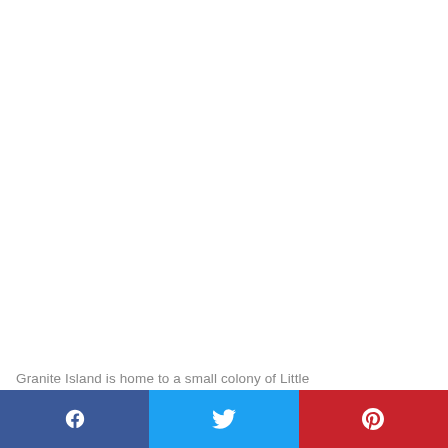Granite Island is home to a small colony of Little
[Figure (other): Social media share buttons: Facebook (blue), Twitter (light blue), Pinterest (red)]